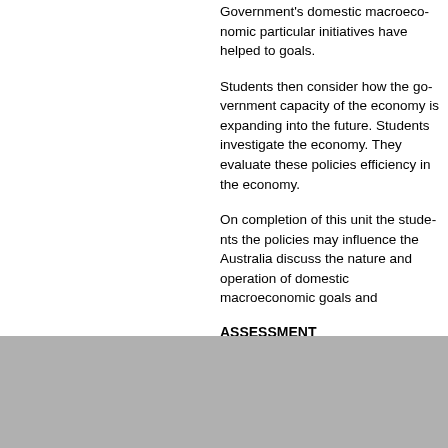Government's domestic macroeco... particular initiatives have helped to... goals.
Students then consider how the go... capacity of the economy is expandi... into the future. Students investigate... economy. They evaluate these poli... efficiency in the economy.
On completion of this unit the stude... the policies may influence the Austr... discuss the nature and operation o... domestic macroeconomic goals an...
ASSESSMENT
1. Coursework – Unit 3 (25%)
2. Coursework – Unit 4 (25%)
3. Examination (50%)